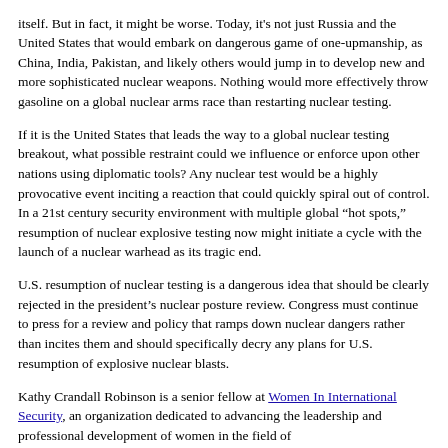itself. But in fact, it might be worse. Today, it's not just Russia and the United States that would embark on dangerous game of one-upmanship, as China, India, Pakistan, and likely others would jump in to develop new and more sophisticated nuclear weapons. Nothing would more effectively throw gasoline on a global nuclear arms race than restarting nuclear testing.
If it is the United States that leads the way to a global nuclear testing breakout, what possible restraint could we influence or enforce upon other nations using diplomatic tools? Any nuclear test would be a highly provocative event inciting a reaction that could quickly spiral out of control. In a 21st century security environment with multiple global “hot spots,” resumption of nuclear explosive testing now might initiate a cycle with the launch of a nuclear warhead as its tragic end.
U.S. resumption of nuclear testing is a dangerous idea that should be clearly rejected in the president’s nuclear posture review. Congress must continue to press for a review and policy that ramps down nuclear dangers rather than incites them and should specifically decry any plans for U.S. resumption of explosive nuclear blasts.
Kathy Crandall Robinson is a senior fellow at Women In International Security, an organization dedicated to advancing the leadership and professional development of women in the field of